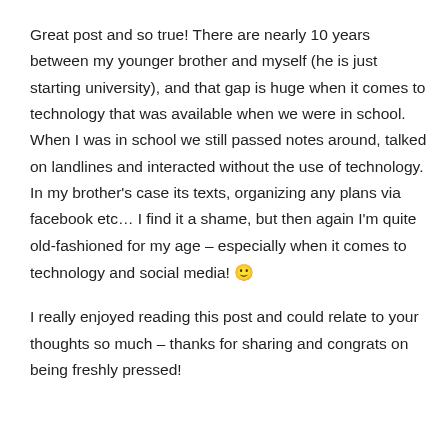Great post and so true! There are nearly 10 years between my younger brother and myself (he is just starting university), and that gap is huge when it comes to technology that was available when we were in school. When I was in school we still passed notes around, talked on landlines and interacted without the use of technology. In my brother's case its texts, organizing any plans via facebook etc… I find it a shame, but then again I'm quite old-fashioned for my age – especially when it comes to technology and social media! 🙂
I really enjoyed reading this post and could relate to your thoughts so much – thanks for sharing and congrats on being freshly pressed!